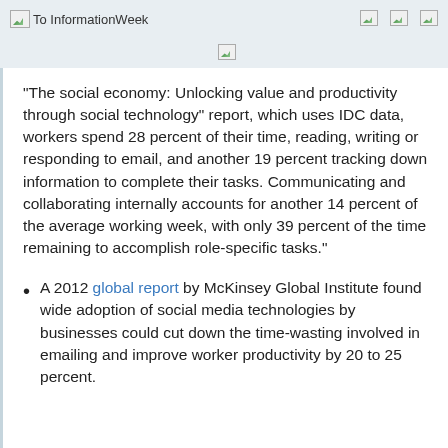To InformationWeek
"The social economy: Unlocking value and productivity through social technology" report, which uses IDC data, workers spend 28 percent of their time, reading, writing or responding to email, and another 19 percent tracking down information to complete their tasks. Communicating and collaborating internally accounts for another 14 percent of the average working week, with only 39 percent of the time remaining to accomplish role-specific tasks."
A 2012 global report by McKinsey Global Institute found wide adoption of social media technologies by businesses could cut down the time-wasting involved in emailing and improve worker productivity by 20 to 25 percent.